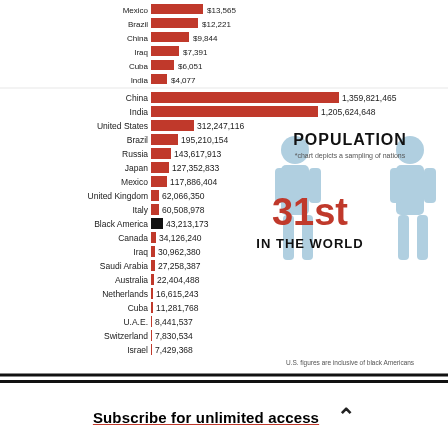[Figure (bar-chart): POPULATION]
U.S. figures are inclusive of black Americans
31st IN THE WORLD
Subscribe for unlimited access